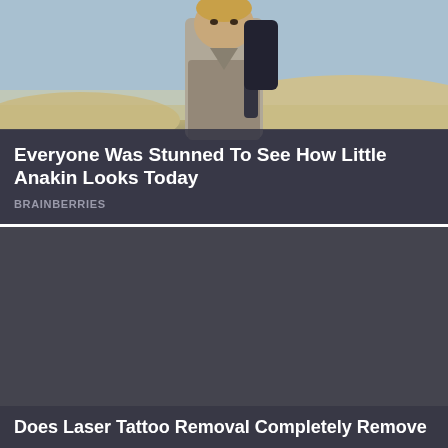[Figure (photo): Young boy (child actor portraying young Anakin Skywalker) standing in a desert/sandy environment, wearing a brown/grey robe with a dark backpack. Soft sandy dunes and blue-grey sky in background.]
Everyone Was Stunned To See How Little Anakin Looks Today
BRAINBERRIES
[Figure (photo): Dark/empty image area — second ad card with no visible image loaded, showing dark grey background.]
Does Laser Tattoo Removal Completely Remove